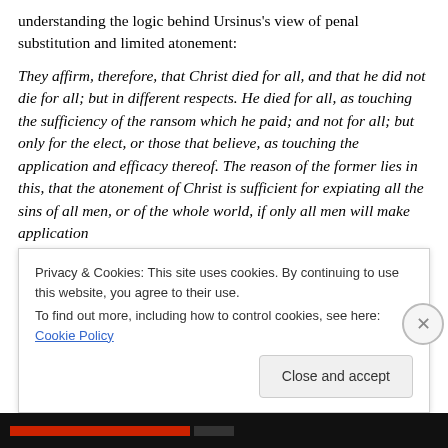understanding the logic behind Ursinus's view of penal substitution and limited atonement:
They affirm, therefore, that Christ died for all, and that he did not die for all; but in different respects. He died for all, as touching the sufficiency of the ransom which he paid; and not for all; but only for the elect, or those that believe, as touching the application and efficacy thereof. The reason of the former lies in this, that the atonement of Christ is sufficient for expiating all the sins of all men, or of the whole world, if only all men will make application
Privacy & Cookies: This site uses cookies. By continuing to use this website, you agree to their use.
To find out more, including how to control cookies, see here: Cookie Policy
Close and accept